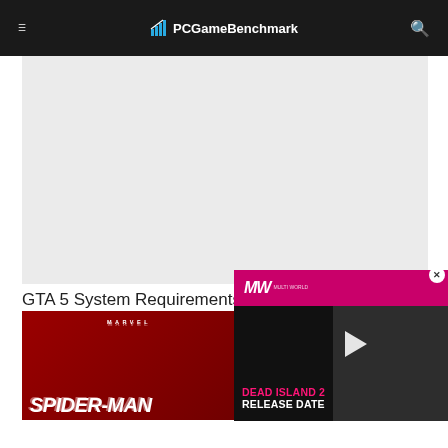PCGameBenchmark
[Figure (illustration): Gray advertisement placeholder area]
GTA 5 System Requirements
[Figure (screenshot): Marvel Spider-Man game banner with red background and white text SPIDER-MAN]
[Figure (screenshot): Dead Island 2 Release Date video popup overlay with pink MW logo bar, play button, person photo on right, and red/white text DEAD ISLAND 2 RELEASE DATE]